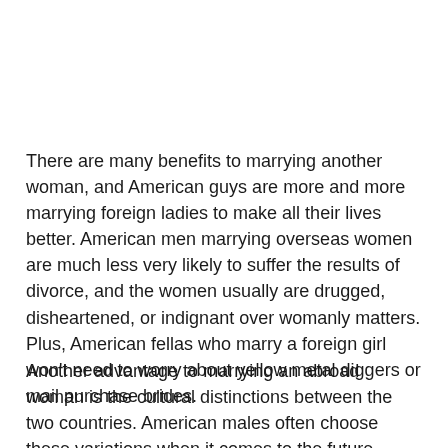There are many benefits to marrying another woman, and American guys are more and more marrying foreign ladies to make all their lives better. American men marrying overseas women are much less very likely to suffer the results of divorce, and the women usually are drugged, disheartened, or indignant over womanly matters. Plus, American fellas who marry a foreign girl won't need to worry about yellow metal diggers or mail purchase brides.
Another advantage to marrying an abroad woman is the cultural distinctions between the two countries. American males often choose these variations when it comes to the future associates. While many overseas women are